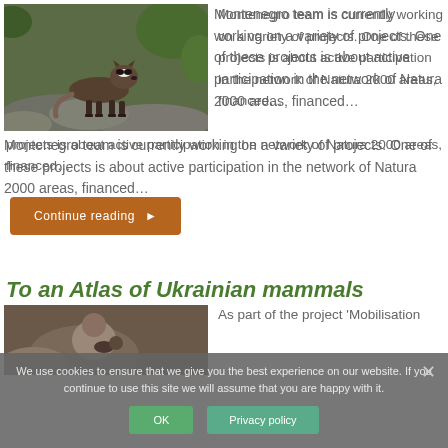[Figure (photo): Photo of a small mustelid animal (likely a stone marten or polecat) standing on rocks with green foliage in the background]
Montenegro team is currently working on a variety of projects. One of these projects is about active participation in the network of Natura 2000 areas, financed…
Continue reading ▶
To an Atlas of Ukrainian mammals
[Figure (photo): Photo appearing to show a person holding a small mammal]
As part of the project 'Mobilisation
We use cookies to ensure that we give you the best experience on our website. If you continue to use this site we will assume that you are happy with it.
OK
Privacy policy